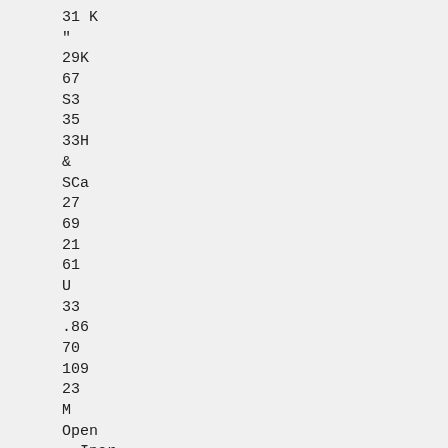31 K
"
29K
67
S3
35
33H
&
SCa
27
69
21
61
U
33
.86
70
109
23
M
Open
. Inar.
Am. Cotton Oil. , MX
Atcn.. Top. A U.K.... M!i